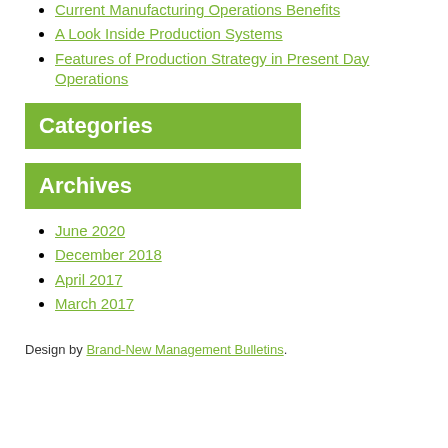Current Manufacturing Operations Benefits
A Look Inside Production Systems
Features of Production Strategy in Present Day Operations
Categories
Archives
June 2020
December 2018
April 2017
March 2017
Design by Brand-New Management Bulletins.